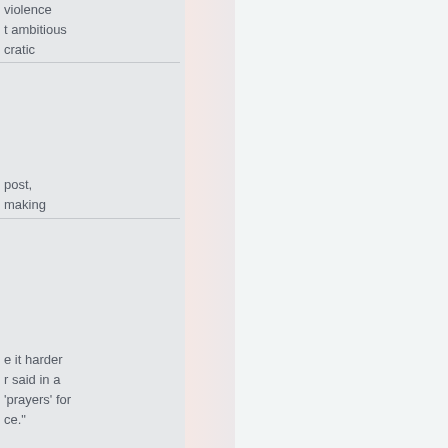violence
t ambitious
cratic
post,
making
e it harder
r said in a
'prayers' for
ce."
censing
an on
sures
weapons
t
date
likely to
til Tif